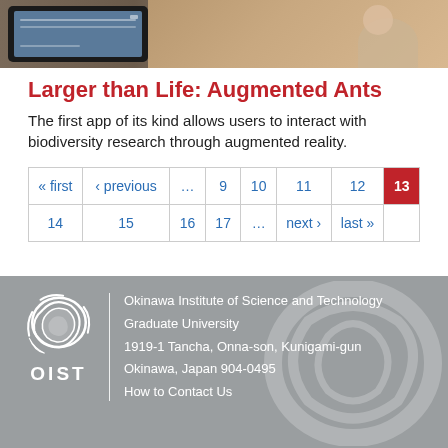[Figure (photo): Photo strip showing a person holding a tablet and another person gesturing]
Larger than Life: Augmented Ants
The first app of its kind allows users to interact with biodiversity research through augmented reality.
| « first | ‹ previous | ... | 9 | 10 | 11 | 12 | 13 |
| 14 | 15 | 16 | 17 | ... | next › | last » |  |
Okinawa Institute of Science and Technology Graduate University
1919-1 Tancha, Onna-son, Kunigami-gun
Okinawa, Japan 904-0495
How to Contact Us